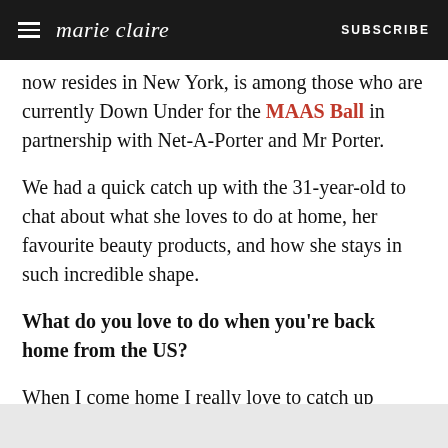marie claire  SUBSCRIBE
now resides in New York, is among those who are currently Down Under for the MAAS Ball in partnership with Net-A-Porter and Mr Porter.
We had a quick catch up with the 31-year-old to chat about what she loves to do at home, her favourite beauty products, and how she stays in such incredible shape.
What do you love to do when you're back home from the US?
When I come home I really love to catch up friends, but it's usually almost impossible due to my schedule. I'm only back for two days this trip-  one